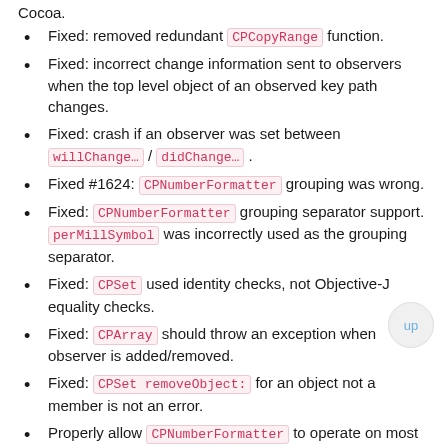Cocoa.
Fixed: removed redundant CPCopyRange function.
Fixed: incorrect change information sent to observers when the top level object of an observed key path changes.
Fixed: crash if an observer was set between willChange… / didChange… .
Fixed #1624: CPNumberFormatter grouping was wrong.
Fixed: CPNumberFormatter grouping separator support. perMillSymbol was incorrectly used as the grouping separator.
Fixed: CPSet used identity checks, not Objective-J equality checks.
Fixed: CPArray should throw an exception when observer is added/removed.
Fixed: CPSet removeObject: for an object not a member is not an error.
Properly allow CPNumberFormatter to operate on most CPNumber types. This only worked by accident before.
Correct CPNumberFormatter maximumFractionalDigits default.
Fix CPNumberFormatter maximum fraction digits property